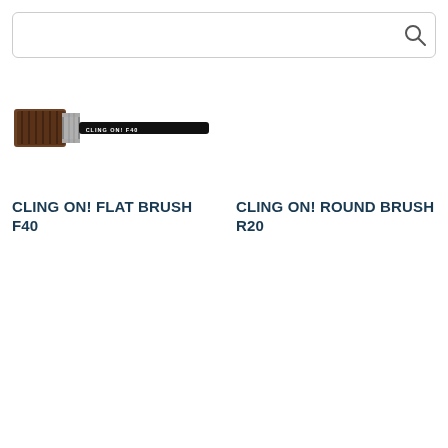[Figure (screenshot): Search bar with magnifying glass icon]
[Figure (photo): Cling On! Flat Brush F40 - a flat paint brush with dark bristles and black handle]
CLING ON! FLAT BRUSH F40
CLING ON! ROUND BRUSH R20